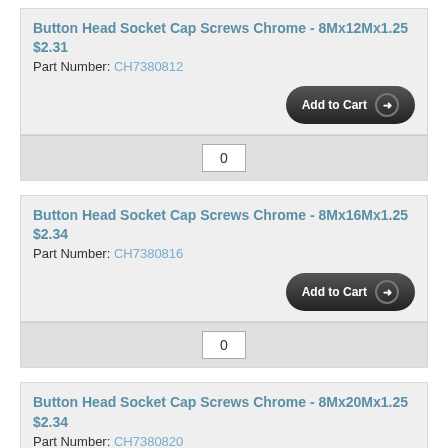Button Head Socket Cap Screws Chrome - 8Mx12Mx1.25 $2.31
Part Number: CH7380812
0
Button Head Socket Cap Screws Chrome - 8Mx16Mx1.25 $2.34
Part Number: CH7380816
0
Button Head Socket Cap Screws Chrome - 8Mx20Mx1.25 $2.34
Part Number: CH7380820